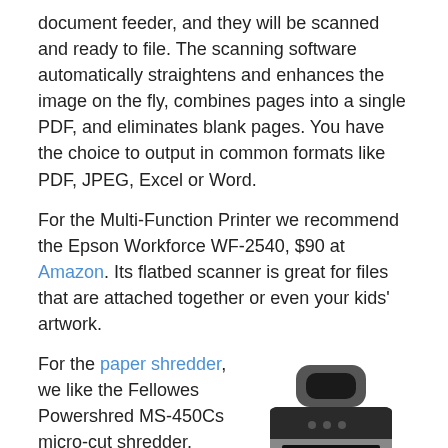document feeder, and they will be scanned and ready to file. The scanning software automatically straightens and enhances the image on the fly, combines pages into a single PDF, and eliminates blank pages. You have the choice to output in common formats like PDF, JPEG, Excel or Word.
For the Multi-Function Printer we recommend the Epson Workforce WF-2540, $90 at Amazon. Its flatbed scanner is great for files that are attached together or even your kids' artwork.
For the paper shredder, we like the Fellowes Powershred MS-450Cs micro-cut shredder, $199.98 on Amazon. Its level 4 security rating means it's safe for your sensitive documents. Plus, it's compact, powerful and has safety features in
[Figure (photo): Photo of a Fellowes Powershred MS-450Cs micro-cut paper shredder, black with silver accents, showing shredded paper visible through a window in the front.]